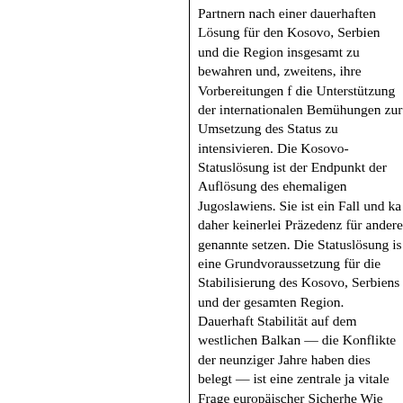Partnern nach einer dauerhaften Lösung für den Kosovo, Serbien und die Region insgesamt zu bewahren und, zweitens, ihre Vorbereitungen für die Unterstützung der internationalen Bemühungen zur Umsetzung des Status zu intensivieren. Die Kosovo-Statuslösung ist der Endpunkt der Auflösung des ehemaligen Jugoslawiens. Sie ist ein Fall und kann daher keinerlei Präzedenz für andere genannte setzen. Die Statuslösung ist eine Grundvoraussetzung für die Stabilisierung des Kosovo, Serbiens und der gesamten Region. Dauerhafte Stabilität auf dem westlichen Balkan — die Konflikte der neunziger Jahre haben dies belegt — ist eine zentrale, ja vitale Frage europäischer Sicherheit. Wie auch in vielen anderen Bereichen ist dabei unsere Einigkeit und Geschlossenheit ein wesentlicher Schlüssel, um eine dauerhafte Lösung zu erreichen. Die Außenminister der Europäischen Union haben sich auf